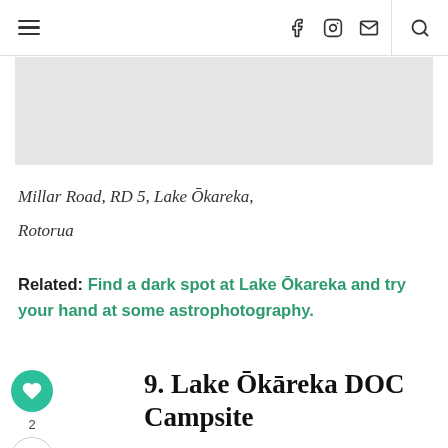Navigation bar with hamburger menu, social icons (Facebook, Instagram, email), and search
[Figure (photo): Gray image placeholder area at top of content]
Millar Road, RD 5, Lake Ōkareka, Rotorua
Related: Find a dark spot at Lake Ōkareka and try your hand at some astrophotography.
9. Lake Ōkāreka DOC Campsite